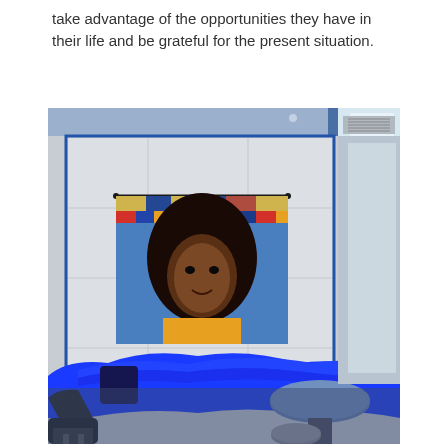take advantage of the opportunities they have in their life and be grateful for the present situation.
[Figure (photo): Interior room with a vibrant blue curved sectional sofa, a colorful mosaic-style tapestry artwork hanging on a white paneled wall depicting a woman's face, a round table with a blue top, a black lounge chair in the foreground, and blue ceiling accents.]